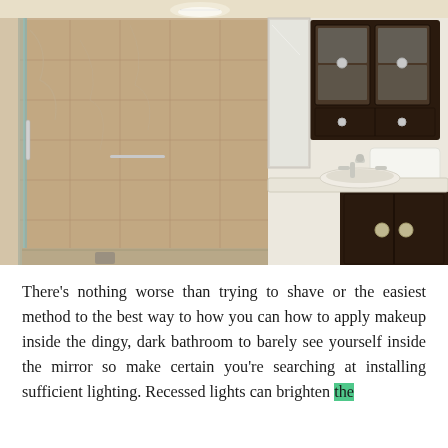[Figure (photo): Interior photo of a renovated bathroom featuring a glass-enclosed shower with marble/travertine tile walls, a dark wood vanity with white countertop and sink, a wall-mounted dark wood medicine cabinet with glass doors, a white toilet, chrome fixtures, and a large mirror. The overall color palette is warm beige and dark espresso brown.]
There's nothing worse than trying to shave or the easiest method to the best way to how you can how to apply makeup inside the dingy, dark bathroom to barely see yourself inside the mirror so make certain you're searching at installing sufficient lighting. Recessed lights can brighten the